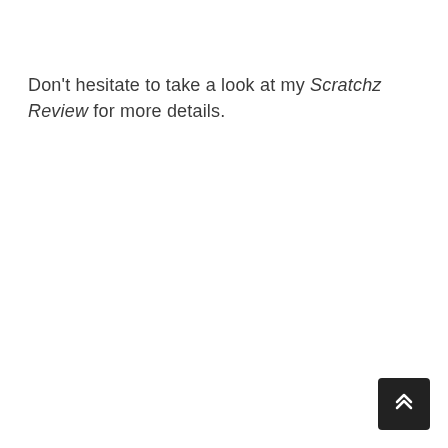Don't hesitate to take a look at my Scratchz Review for more details.
[Figure (other): Dark square button with double upward chevron arrow icon, positioned in the bottom-right corner]